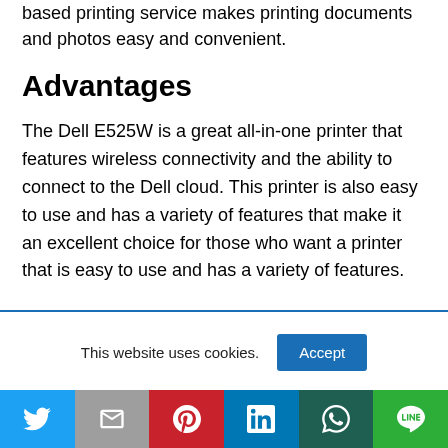based printing service makes printing documents and photos easy and convenient.
Advantages
The Dell E525W is a great all-in-one printer that features wireless connectivity and the ability to connect to the Dell cloud. This printer is also easy to use and has a variety of features that make it an excellent choice for those who want a printer that is easy to use and has a variety of features.
This website uses cookies.
[Figure (infographic): Social media share buttons: Twitter, Gmail, Pinterest, LinkedIn, WhatsApp, Line]